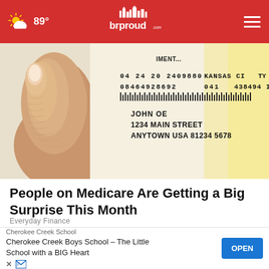brproud.com — 89°
[Figure (photo): Close-up of a hand holding a mail envelope/check with printed address: JOHN OE, 1234 MAIN STREET, ANYTOWN USA 81234 5678, with postal barcodes and tracking numbers 04 24 20 2409880, KANSAS CITY, 08464928692, 041, 438494 I]
People on Medicare Are Getting a Big Surprise This Month
Everyday Finance
[Figure (photo): Partial view of a US Treasury/government check or document with text including DEPARTMENT OF THE TREASURY, PO BOX 51520, PHILADELPHIA PENNSYLVANIA 19115-6320, and partial text RECIPIENT visible on right edge]
Cherokee Creek School
Cherokee Creek Boys School – The Little School with a BIG Heart